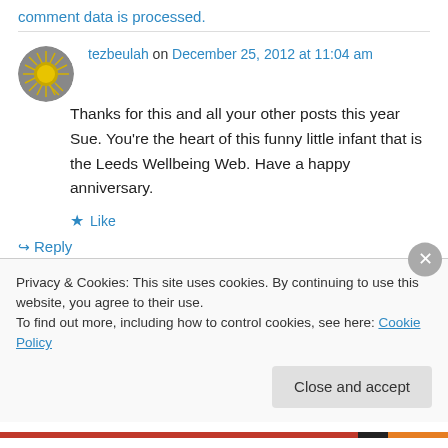comment data is processed.
tezbeulah on December 25, 2012 at 11:04 am
Thanks for this and all your other posts this year Sue. You're the heart of this funny little infant that is the Leeds Wellbeing Web. Have a happy anniversary.
Like
Reply
Privacy & Cookies: This site uses cookies. By continuing to use this website, you agree to their use.
To find out more, including how to control cookies, see here: Cookie Policy
Close and accept